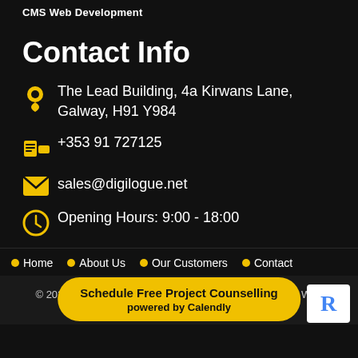CMS Web Development
Contact Info
The Lead Building, 4a Kirwans Lane, Galway, H91 Y984
+353 91 727125
sales@digilogue.net
Opening Hours: 9:00 - 18:00
Home  About Us  Our Customers  Contact
© 2022 All Rights Reserved. Designed by Digilogue CMS Web Development
Schedule Free Project Counselling
powered by Calendly